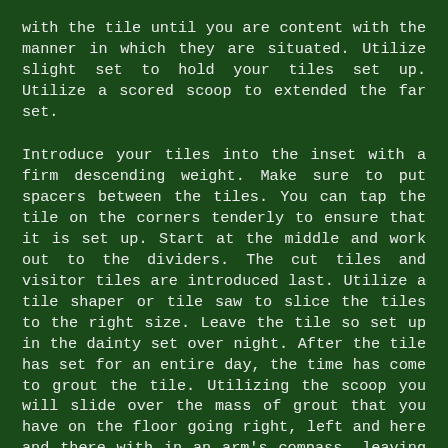with the tile until you are content with the manner in which they are situated. Utilize slight set to hold your tiles set up. Utilize a scored scoop to extended the far set.
Introduce your tiles into the inset with a firm descending weight. Make sure to put spacers between the tiles. You can tap the tile on the corners tenderly to ensure that it is set up. Start at the middle and work out to the dividers. The cut tiles and visitor tiles are introduced last. Utilize a tile shaper or tile saw to slice the tiles to the right size. Leave the tile so set up in the dainty set over night. After the tile has set for an entire day, the time has come to grout the tile. Utilizing the scoop you will slide over the mass of grout that you have on the floor going right, left and here and there with in an arm's compass, leaving pretty much nothing if any grout on head of the tile. You should have somebody washing the grouted tiles with a soggy towel to get the abundance grout off of the tile before the grout dries and sets.